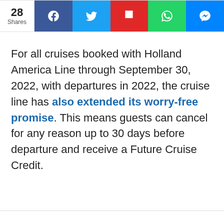28 Shares | Social share bar: Facebook, Twitter, Flipboard, WhatsApp, Messenger
For all cruises booked with Holland America Line through September 30, 2022, with departures in 2022, the cruise line has also extended its worry-free promise. This means guests can cancel for any reason up to 30 days before departure and receive a Future Cruise Credit.